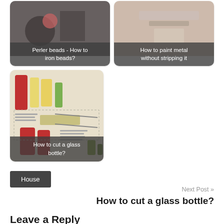[Figure (photo): Card thumbnail: Perler beads craft project with label 'Perler beads - How to iron beads?']
[Figure (photo): Card thumbnail: Painting metal with label 'How to paint metal without stripping it']
[Figure (illustration): Card thumbnail: Illustrated infographic on cutting glass bottles with label 'How to cut a glass bottle?']
House
Next Post »
How to cut a glass bottle?
Leave a Reply